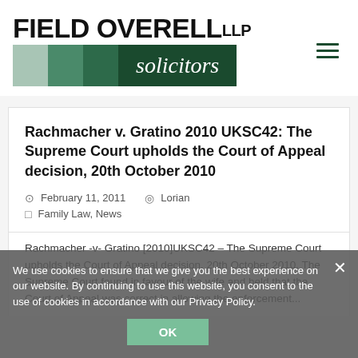[Figure (logo): Field Overell LLP Solicitors logo with colored square blocks and dark green solicitors banner]
Rachmacher v. Gratino 2010 UKSC42: The Supreme Court upholds the Court of Appeal decision, 20th October 2010
February 11, 2011   Lorian
Family Law, News
Rachmacher -v- Gratino [2010]UKSC42 – The Supreme Court upholds the Court of Appeal decision, 20th October 2010. The Supreme Court found in favour of the wife and held that the Court of Appeal was correct in allowing the enforcement...
We use cookies to ensure that we give you the best experience on our website. By continuing to use this website, you consent to the use of cookies in accordance with our Privacy Policy.